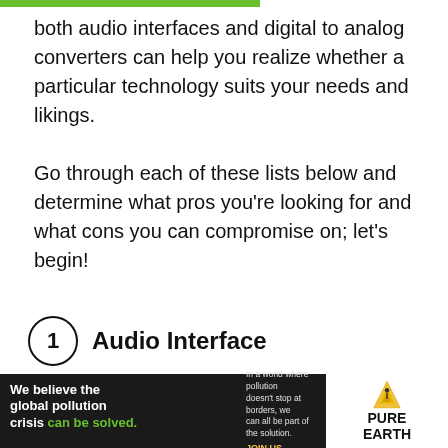both audio interfaces and digital to analog converters can help you realize whether a particular technology suits your needs and likings.
Go through each of these lists below and determine what pros you're looking for and what cons you can compromise on; let's begin!
1 Audio Interface
[Figure (screenshot): Product image area with SALE badge and a video overlay showing 'No compatible source was found for this' with a close button and scroll button]
[Figure (infographic): Advertisement banner: Pure Earth - 'We believe the global pollution crisis can be solved. In a world where pollution doesn't stop at borders, we can all be part of the solution. JOIN US.']